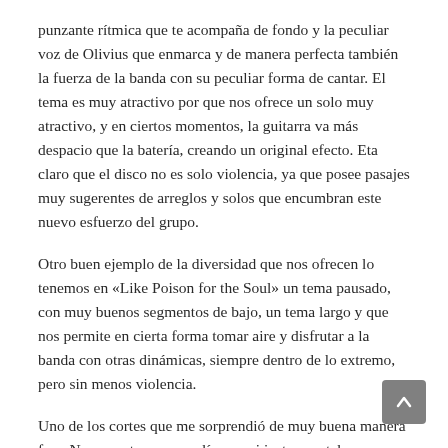punzante rítmica que te acompaña de fondo y la peculiar voz de Olivius que enmarca y de manera perfecta también la fuerza de la banda con su peculiar forma de cantar. El tema es muy atractivo por que nos ofrece un solo muy atractivo, y en ciertos momentos, la guitarra va más despacio que la batería, creando un original efecto. Eta claro que el disco no es solo violencia, ya que posee pasajes muy sugerentes de arreglos y solos que encumbran este nuevo esfuerzo del grupo.
Otro buen ejemplo de la diversidad que nos ofrecen lo tenemos en «Like Poison for the Soul» un tema pausado, con muy buenos segmentos de bajo, un tema largo y que nos permite en cierta forma tomar aire y disfrutar a la banda con otras dinámicas, siempre dentro de lo extremo, pero sin menos violencia.
Uno de los cortes que me sorprendió de muy buena manera fue «Necronaut», con una línea casi instrumental, y muy técnica, lenta y con hermosos